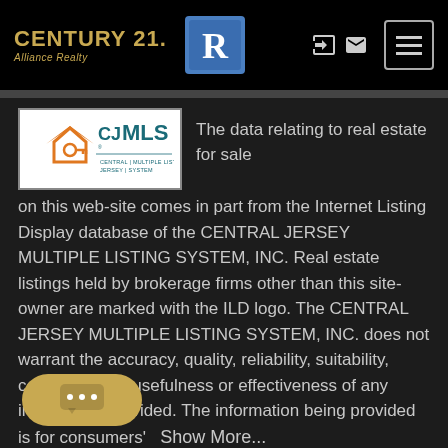CENTURY 21 Alliance Realty — navigation bar with Realtor logo and hamburger menu
[Figure (logo): CJMLS Central Jersey Multiple Listing System logo — orange house icon with key, blue-green text]
The data relating to real estate for sale on this web-site comes in part from the Internet Listing Display database of the CENTRAL JERSEY MULTIPLE LISTING SYSTEM, INC. Real estate listings held by brokerage firms other than this site-owner are marked with the ILD logo. The CENTRAL JERSEY MULTIPLE LISTING SYSTEM, INC. does not warrant the accuracy, quality, reliability, suitability, completeness, usefulness or effectiveness of any information provided. The information being provided is for consumers' Show More...
[Figure (illustration): Gold chat bubble button with three dots icon at bottom left]